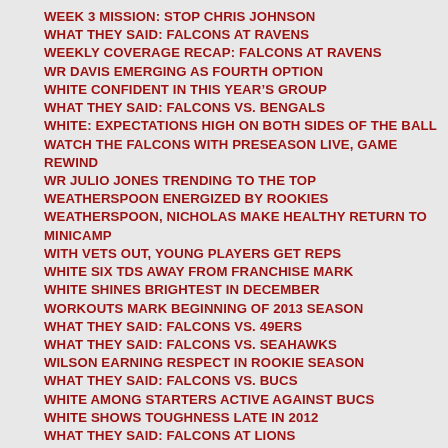WEEK 3 MISSION: STOP CHRIS JOHNSON
WHAT THEY SAID: FALCONS AT RAVENS
WEEKLY COVERAGE RECAP: FALCONS AT RAVENS
WR DAVIS EMERGING AS FOURTH OPTION
WHITE CONFIDENT IN THIS YEAR'S GROUP
WHAT THEY SAID: FALCONS VS. BENGALS
WHITE: EXPECTATIONS HIGH ON BOTH SIDES OF THE BALL
WATCH THE FALCONS WITH PRESEASON LIVE, GAME REWIND
WR JULIO JONES TRENDING TO THE TOP
WEATHERSPOON ENERGIZED BY ROOKIES
WEATHERSPOON, NICHOLAS MAKE HEALTHY RETURN TO MINICAMP
WITH VETS OUT, YOUNG PLAYERS GET REPS
WHITE SIX TDS AWAY FROM FRANCHISE MARK
WHITE SHINES BRIGHTEST IN DECEMBER
WORKOUTS MARK BEGINNING OF 2013 SEASON
WHAT THEY SAID: FALCONS VS. 49ERS
WHAT THEY SAID: FALCONS VS. SEAHAWKS
WILSON EARNING RESPECT IN ROOKIE SEASON
WHAT THEY SAID: FALCONS VS. BUCS
WHITE AMONG STARTERS ACTIVE AGAINST BUCS
WHITE SHOWS TOUGHNESS LATE IN 2012
WHAT THEY SAID: FALCONS AT LIONS
WHITE-TO-RYAN HIGHLIGHTS FIRST HALF IN DETROIT